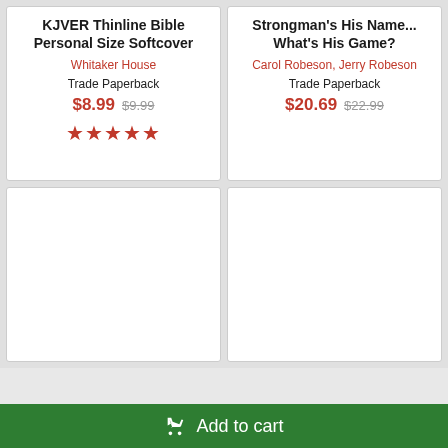KJVER Thinline Bible Personal Size Softcover
Whitaker House
Trade Paperback
$8.99  $9.99
[Figure (other): Five red star rating icons]
Strongman's His Name... What's His Game?
Carol Robeson, Jerry Robeson
Trade Paperback
$20.69  $22.99
[Figure (other): Empty white product card (bottom left)]
[Figure (other): Empty white product card (bottom right)]
Add to cart